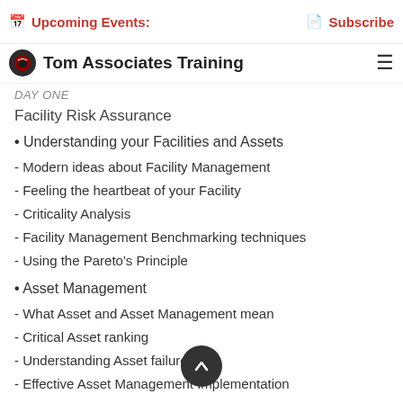Upcoming Events: | Subscribe
Tom Associates Training
DAY ONE
Facility Risk Assurance
• Understanding your Facilities and Assets
- Modern ideas about Facility Management
- Feeling the heartbeat of your Facility
- Criticality Analysis
- Facility Management Benchmarking techniques
- Using the Pareto's Principle
• Asset Management
- What Asset and Asset Management mean
- Critical Asset ranking
- Understanding Asset failure
- Effective Asset Management Implementation